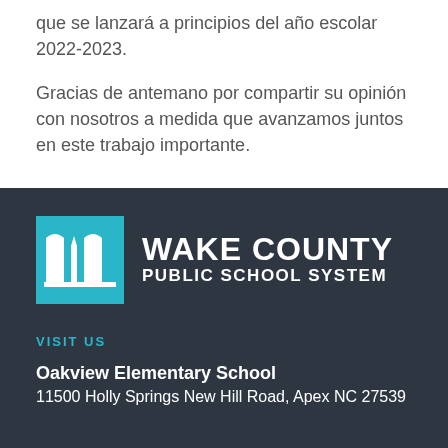que se lanzará a principios del año escolar 2022-2023.
Gracias de antemano por compartir su opinión con nosotros a medida que avanzamos juntos en este trabajo importante.
[Figure (logo): Wake County Public School System logo — blue square icon with white building/pencil motif, followed by white bold text WAKE COUNTY PUBLIC SCHOOL SYSTEM on dark background]
VISIT US
Oakview Elementary School
11500 Holly Springs New Hill Road, Apex NC 27539